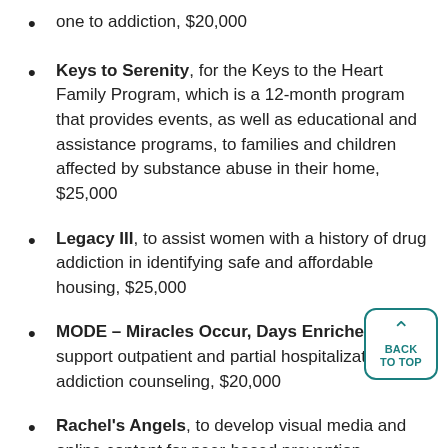one to addiction, $20,000
Keys to Serenity, for the Keys to the Heart Family Program, which is a 12-month program that provides events, as well as educational and assistance programs, to families and children affected by substance abuse in their home, $25,000
Legacy III, to assist women with a history of drug addiction in identifying safe and affordable housing, $25,000
MODE – Miracles Occur, Days Enriched, to support outpatient and partial hospitalization addiction counseling, $20,000
Rachel's Angels, to develop visual media and online content for peer-based prevention presentations at local schools, $15,000